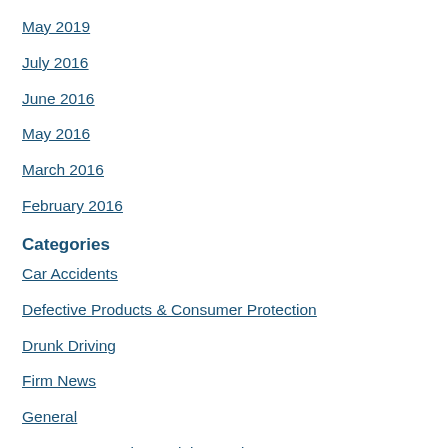May 2019
July 2016
June 2016
May 2016
March 2016
February 2016
Categories
Car Accidents
Defective Products & Consumer Protection
Drunk Driving
Firm News
General
Insurance Practices, Claims and Coverage